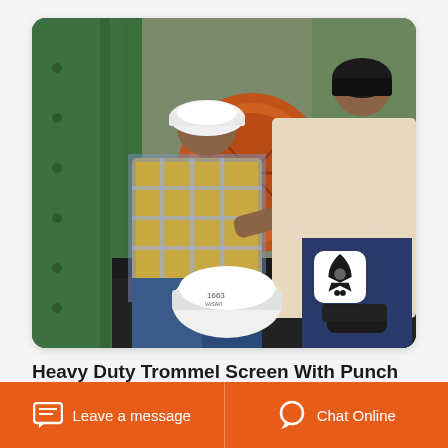[Figure (photo): Two workers in hard hats leaning over and working on a large heavy-duty trommel screen machine. The machinery is orange and green colored. A white hard hat sits in the foreground. A small notification icon badge is visible in the lower right of the photo.]
Heavy Duty Trommel Screen With Punch
Leave a message
Chat Online